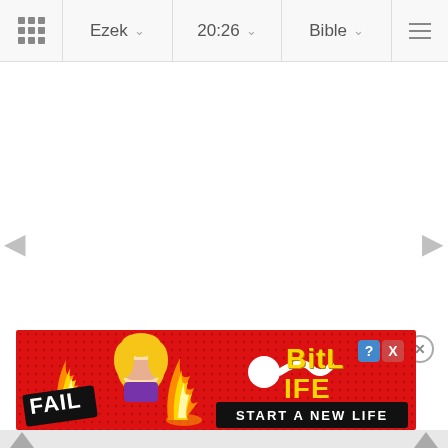Ezek  20:26  Bible
[Figure (screenshot): Mobile Bible app screenshot showing navigation bar with Ezek 20:26 Bible dropdowns and a blank white content area with left/right navigation arrows. An advertisement banner for BitLife game is shown at the bottom with a close button, featuring a FAIL badge, animated character, sperm icon, and START A NEW LIFE tagline.]